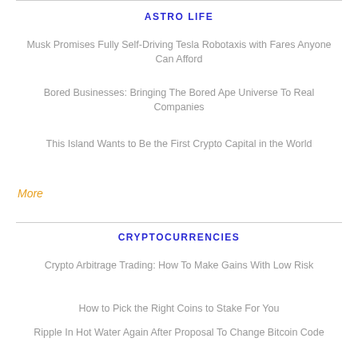ASTRO LIFE
Musk Promises Fully Self-Driving Tesla Robotaxis with Fares Anyone Can Afford
Bored Businesses: Bringing The Bored Ape Universe To Real Companies
This Island Wants to Be the First Crypto Capital in the World
More
CRYPTOCURRENCIES
Crypto Arbitrage Trading: How To Make Gains With Low Risk
How to Pick the Right Coins to Stake For You
Ripple In Hot Water Again After Proposal To Change Bitcoin Code